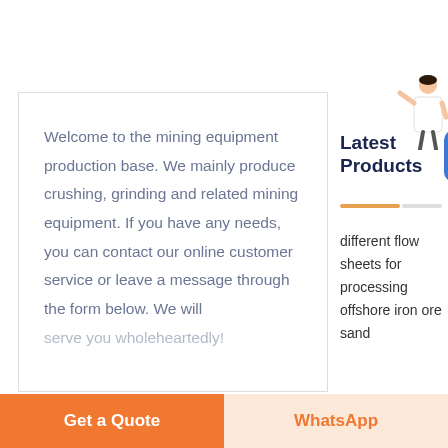Welcome to the mining equipment production base. We mainly produce crushing, grinding and related mining equipment. If you have any needs, you can contact our online customer service or leave a message through the form below. We will serve you wholeheartedly!
Latest Products
[Figure (illustration): Person in white coat gesturing, representing customer service representative]
different flow sheets for processing offshore iron ore sand
Get a Quote
WhatsApp